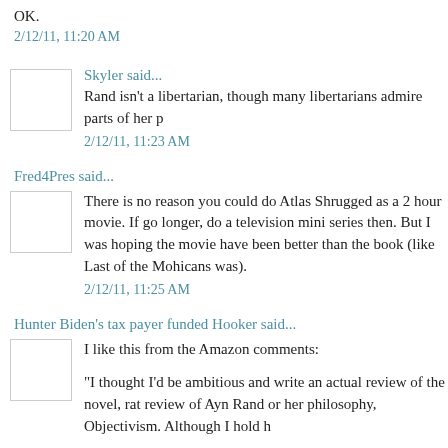OK.
2/12/11, 11:20 AM
Skyler said...
Rand isn't a libertarian, though many libertarians admire parts of her p
2/12/11, 11:23 AM
Fred4Pres said...
There is no reason you could do Atlas Shrugged as a 2 hour movie. If go longer, do a television mini series then. But I was hoping the movie have been better than the book (like Last of the Mohicans was).
2/12/11, 11:25 AM
Hunter Biden's tax payer funded Hooker said...
I like this from the Amazon comments:
"I thought I'd be ambitious and write an actual review of the novel, rat review of Ayn Rand or her philosophy, Objectivism. Although I hold h